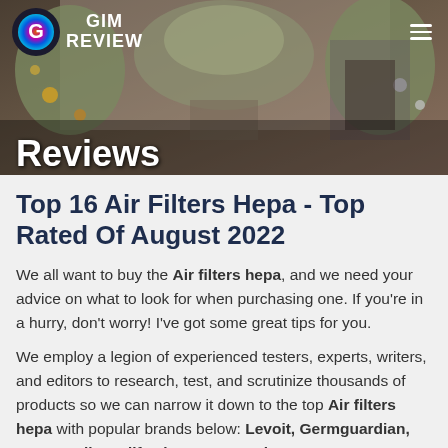[Figure (photo): Hero banner with holiday/winter decoration background (Christmas trees, ornaments). GIM Review logo (colorful galaxy swirl circle with 'G') and site name 'GIM REVIEW' top left. Hamburger menu icon top right. 'Reviews' text overlay in white bold at bottom left.]
Top 16 Air Filters Hepa - Top Rated Of August 2022
We all want to buy the Air filters hepa, and we need your advice on what to look for when purchasing one. If you're in a hurry, don't worry! I've got some great tips for you.
We employ a legion of experienced testers, experts, writers, and editors to research, test, and scrutinize thousands of products so we can narrow it down to the top Air filters hepa with popular brands below: Levoit, Germguardian, Honeywell, Medify air, Coway, B-air, Amazon, Hatho...